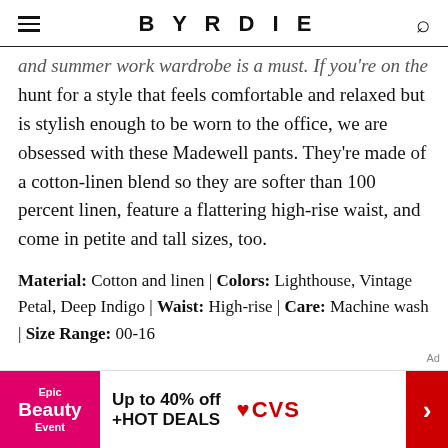BYRDIE
and summer work wardrobe is a must. If you're on the hunt for a style that feels comfortable and relaxed but is stylish enough to be worn to the office, we are obsessed with these Madewell pants. They're made of a cotton-linen blend so they are softer than 100 percent linen, feature a flattering high-rise waist, and come in petite and tall sizes, too.
Material: Cotton and linen | Colors: Lighthouse, Vintage Petal, Deep Indigo | Waist: High-rise | Care: Machine wash | Size Range: 00-16
[Figure (infographic): CVS Epic Beauty Event advertisement banner with pink logo box, deal text 'Up to 40% off +HOT DEALS', CVS logo with heart, and red arrow button]